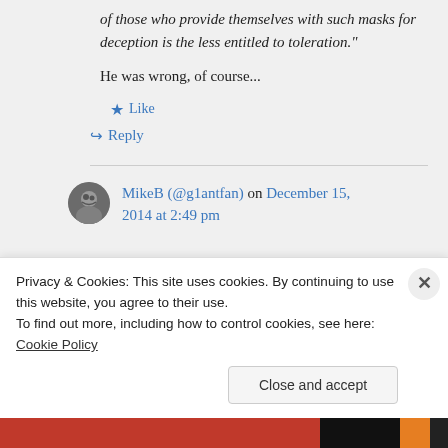of those who provide themselves with such masks for deception is the less entitled to toleration."
He was wrong, of course...
★ Like
↪ Reply
MikeB (@g1antfan) on December 15, 2014 at 2:49 pm
Privacy & Cookies: This site uses cookies. By continuing to use this website, you agree to their use.
To find out more, including how to control cookies, see here: Cookie Policy
Close and accept